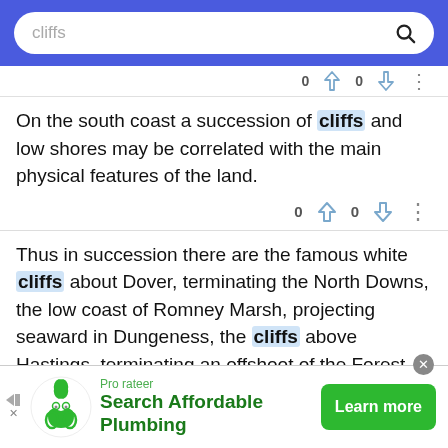cliffs [search bar]
On the south coast a succession of cliffs and low shores may be correlated with the main physical features of the land.
Thus in succession there are the famous white cliffs about Dover, terminating the North Downs, the low coast of Romney Marsh, projecting seaward in Dungeness, the cliffs above Hastings, terminating an offshoot of the Forest Ridges, the low shore between Hastings and Eastbourne, to
[Figure (screenshot): Advertisement banner: Pro rateer – Search Affordable Plumbing with Learn more button and green logo]